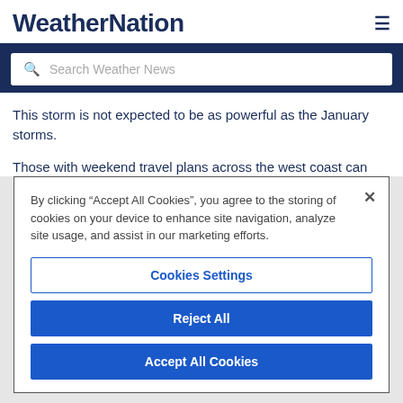WeatherNation
[Figure (screenshot): Search bar with placeholder text 'Search Weather News' on dark blue background]
This storm is not expected to be as powerful as the January storms.
Those with weekend travel plans across the west coast can
By clicking “Accept All Cookies”, you agree to the storing of cookies on your device to enhance site navigation, analyze site usage, and assist in our marketing efforts.
Cookies Settings
Reject All
Accept All Cookies